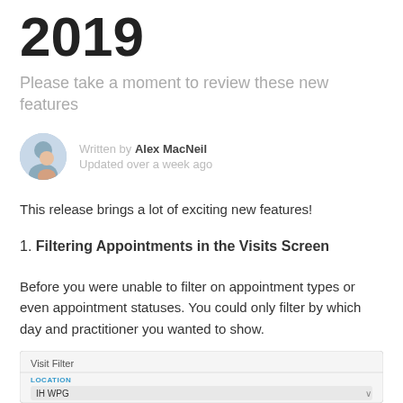2019
Please take a moment to review these new features
Written by Alex MacNeil
Updated over a week ago
This release brings a lot of exciting new features!
1. Filtering Appointments in the Visits Screen
Before you were unable to filter on appointment types or even appointment statuses. You could only filter by which day and practitioner you wanted to show.
[Figure (screenshot): Screenshot of Visit Filter panel showing LOCATION field with 'IH WPG', DATE navigator showing Aug 2019, search box, STATUSES panel with 'All Statuses / No filter', and Dr. Alex MacNeil entry]